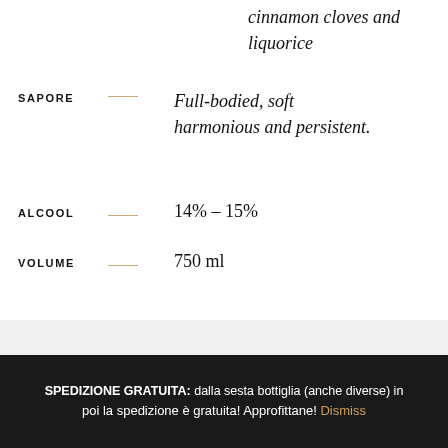cinnamon cloves and liquorice
SAPORE — Full-bodied, soft harmonious and persistent.
ALCOOL — 14% – 15%
VOLUME — 750 ml
SPEDIZIONE GRATUITA: dalla sesta bottiglia (anche diverse) in poi la spedizione è gratuita! Approfittane! Dismiss